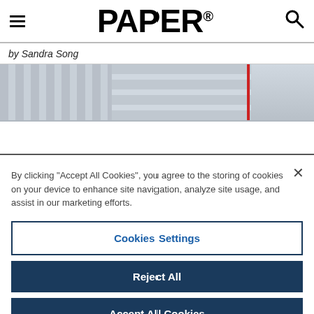PAPER®
by Sandra Song
[Figure (photo): Photograph of urban buildings/skyscrapers, partially visible behind cookie consent overlay]
By clicking "Accept All Cookies", you agree to the storing of cookies on your device to enhance site navigation, analyze site usage, and assist in our marketing efforts.
Cookies Settings
Reject All
Accept All Cookies